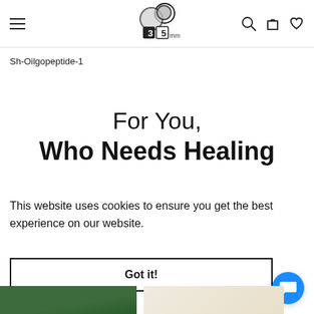35mm logo, navigation hamburger menu, search, cart, and wishlist icons
Sh-Oilgopeptide-1
For You, Who Needs Healing
This website uses cookies to ensure you get the best experience on our website.
Got it!
[Figure (screenshot): Bottom partial view of product images below the cookie notice]